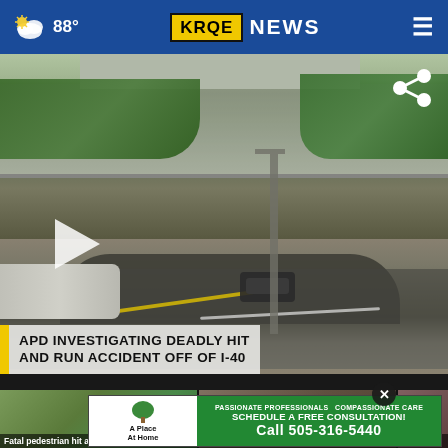88° KRQE NEWS
[Figure (screenshot): News video still showing a highway interchange/overpass scene with a vehicle on the road, trees and concrete barriers visible. Lower-third chyron reads: APD INVESTIGATING DEADLY HIT AND RUN ACCIDENT OFF OF I-40]
APD INVESTIGATING DEADLY HIT AND RUN ACCIDENT OFF OF I-40
[Figure (screenshot): Three video thumbnail images in a row at the bottom of the page. First shows a green outdoor scene (Fatal pedestrian hit and...), second shows a building exterior (Trump, Pressman dead in...), third is partially visible (Duke...).]
[Figure (other): Advertisement overlay: A Place At Home - Passionate Professionals, Compassionate Care. Schedule a Free Consultation! Call 505-316-5440]